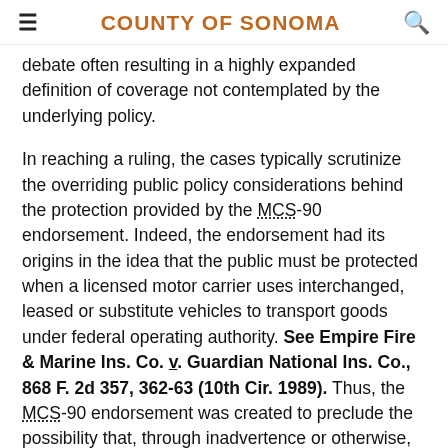COUNTY OF SONOMA
debate often resulting in a highly expanded definition of coverage not contemplated by the underlying policy.
In reaching a ruling, the cases typically scrutinize the overriding public policy considerations behind the protection provided by the MCS-90 endorsement. Indeed, the endorsement had its origins in the idea that the public must be protected when a licensed motor carrier uses interchanged, leased or substitute vehicles to transport goods under federal operating authority. See Empire Fire & Marine Ins. Co. v. Guardian National Ins. Co., 868 F. 2d 357, 362-63 (10th Cir. 1989). Thus, the MCS-90 endorsement was created to preclude the possibility that, through inadvertence or otherwise, some vehicles may be left